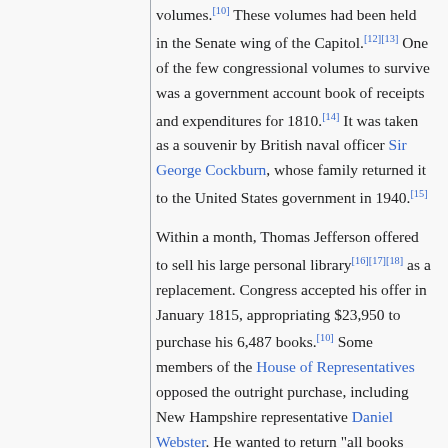volumes.[10] These volumes had been held in the Senate wing of the Capitol.[12][13] One of the few congressional volumes to survive was a government account book of receipts and expenditures for 1810.[14] It was taken as a souvenir by British naval officer Sir George Cockburn, whose family returned it to the United States government in 1940.[15]
Within a month, Thomas Jefferson offered to sell his large personal library[16][17][18] as a replacement. Congress accepted his offer in January 1815, appropriating $23,950 to purchase his 6,487 books.[10] Some members of the House of Representatives opposed the outright purchase, including New Hampshire representative Daniel Webster. He wanted to return "all books